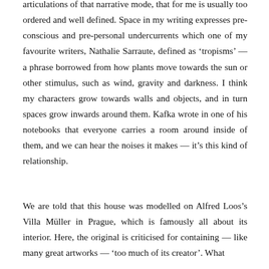articulations of that narrative mode, that for me is usually too ordered and well defined. Space in my writing expresses pre-conscious and pre-personal undercurrents which one of my favourite writers, Nathalie Sarraute, defined as 'tropisms' — a phrase borrowed from how plants move towards the sun or other stimulus, such as wind, gravity and darkness. I think my characters grow towards walls and objects, and in turn spaces grow inwards around them. Kafka wrote in one of his notebooks that everyone carries a room around inside of them, and we can hear the noises it makes — it's this kind of relationship.
We are told that this house was modelled on Alfred Loos's Villa Müller in Prague, which is famously all about its interior. Here, the original is criticised for containing — like many great artworks — 'too much of its creator'. What